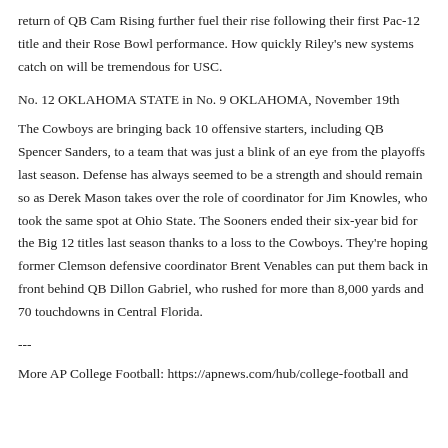return of QB Cam Rising further fuel their rise following their first Pac-12 title and their Rose Bowl performance. How quickly Riley's new systems catch on will be tremendous for USC.
No. 12 OKLAHOMA STATE in No. 9 OKLAHOMA, November 19th
The Cowboys are bringing back 10 offensive starters, including QB Spencer Sanders, to a team that was just a blink of an eye from the playoffs last season. Defense has always seemed to be a strength and should remain so as Derek Mason takes over the role of coordinator for Jim Knowles, who took the same spot at Ohio State. The Sooners ended their six-year bid for the Big 12 titles last season thanks to a loss to the Cowboys. They're hoping former Clemson defensive coordinator Brent Venables can put them back in front behind QB Dillon Gabriel, who rushed for more than 8,000 yards and 70 touchdowns in Central Florida.
---
More AP College Football: https://apnews.com/hub/college-football and